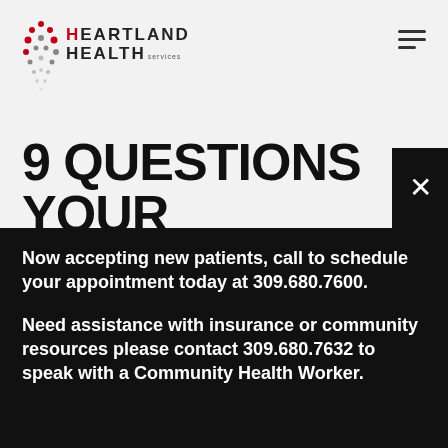[Figure (logo): Heartland Health Services logo with red and black dot pattern on the left and stylized text reading HEARTLAND HEALTH services]
9 QUESTIONS YOUR
Now accepting new patients, call to schedule your appointment today at 309.680.7600.
Need assistance with insurance or community resources please contact 309.680.7632 to speak with a Community Health Worker.